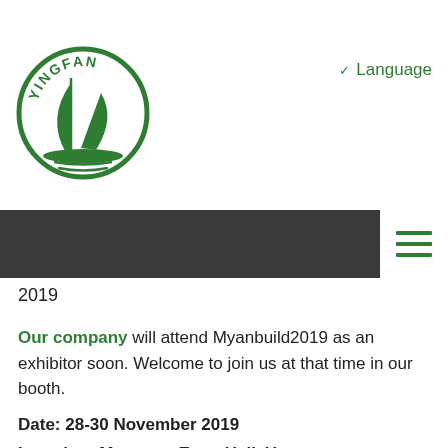[Figure (logo): Yingfan company logo: green circle with a sailboat and waves, text YINGFAN arched at top]
Language
[Figure (other): Dark navigation bar with white hamburger menu icon (three green lines) on the right]
2019
Our company will attend Myanbuild2019 as an exhibitor soon. Welcome to join us at that time in our booth.
Date: 28-30 November 2019
Location: Myanmar Expo Hall, Yangon
(Coner of Min Nandar Road and Thumana Road, Thaketa Township, Yangon, Myanmar)
Our booth #: 502